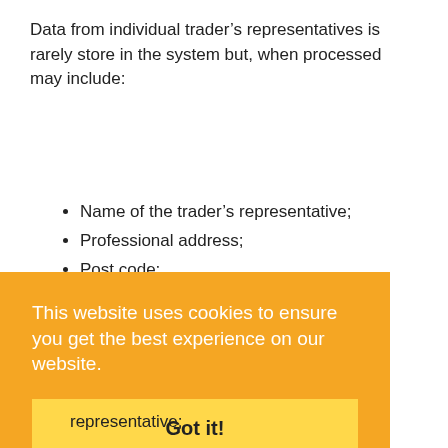Data from individual trader’s representatives is rarely store in the system but, when processed may include:
Name of the trader’s representative;
Professional address;
Post code;
Country;
Professional Telephone;
Professional email;
This website uses cookies to ensure you get the best experience on our website.
Got it!
representative;